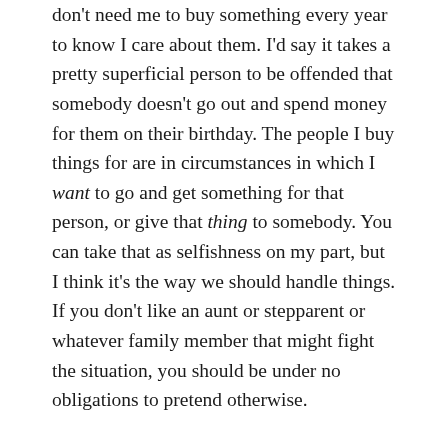don't need me to buy something every year to know I care about them. I'd say it takes a pretty superficial person to be offended that somebody doesn't go out and spend money for them on their birthday. The people I buy things for are in circumstances in which I want to go and get something for that person, or give that thing to somebody. You can take that as selfishness on my part, but I think it's the way we should handle things. If you don't like an aunt or stepparent or whatever family member that might fight the situation, you should be under no obligations to pretend otherwise.
Tangents aside, I actually got a lot done this year. One year ago, I was in my first semester of classes in college, meeting new people and, surprisingly, reminiscing with people I hadn't seen in years that also go to the same